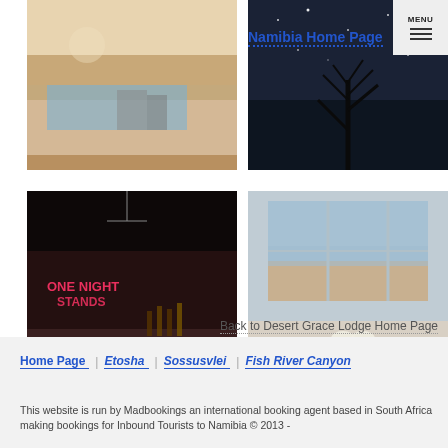[Figure (photo): Outdoor desert lodge area with pool, chairs and table, sandy desert landscape]
[Figure (photo): Night sky with bare tree silhouette, dark atmospheric shot]
Namibia Home Page
[Figure (photo): Bar interior with neon sign reading ONE NIGHT STANDS, bottles and cocktail bar]
[Figure (photo): Dining room with large windows overlooking desert landscape, table settings]
Back to Desert Grace Lodge Home Page
Home Page | Etosha | Sossusvlei | Fish River Canyon
This website is run by Madbookings an international booking agent based in South Africa making bookings for Inbound Tourists to Namibia © 2013 -